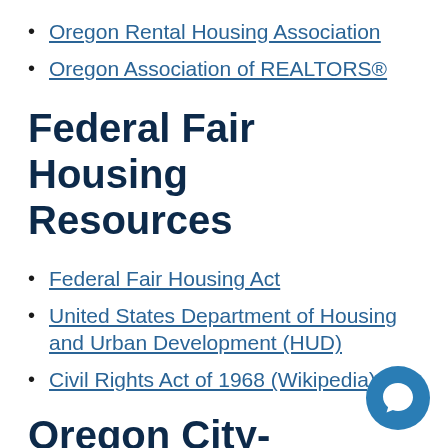Oregon Rental Housing Association
Oregon Association of REALTORS®
Federal Fair Housing Resources
Federal Fair Housing Act
United States Department of Housing and Urban Development (HUD)
Civil Rights Act of 1968 (Wikipedia)
Oregon City-Specific Housing Resources